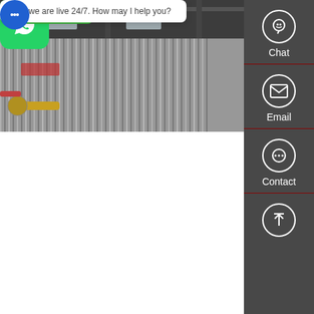[Figure (photo): Industrial facility interior with blue cylindrical equipment/boilers on a polished floor, yellow pipes visible at top]
Power Generation and Boiler Industry in China - Boiler
Mar 09, 2021 · The boiler is one of the major equipment of thermal power generation. By the end of 2018, the installed thermal power capacity of China was about 1.14 billion kilowatts, accounting for 60% of the total installed capacity of electricity in China, and it is still rising. By the end of 2018, there were more than 500 boiler manufacturers in China
Learn More
[Figure (photo): Industrial boiler unit with corrugated metal casing in a factory setting, ceiling infrastructure visible above]
Chat
Email
Contact us now!
Contact
Hey, we are live 24/7. How may I help you?